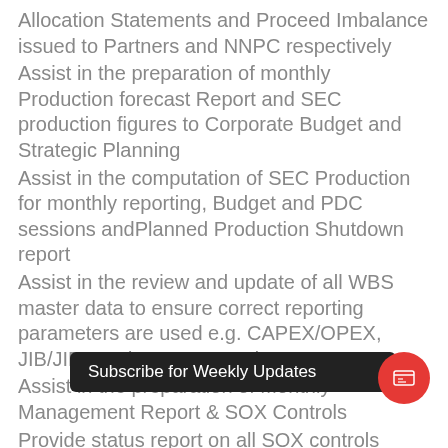Allocation Statements and Proceed Imbalance issued to Partners and NNPC respectively
Assist in the preparation of monthly Production forecast Report and SEC production figures to Corporate Budget and Strategic Planning
Assist in the computation of SEC Production for monthly reporting, Budget and PDC sessions andPlanned Production Shutdown report
Assist in the review and update of all WBS master data to ensure correct reporting parameters are used e.g. CAPEX/OPEX, JIB/JIBE codes, NNPC codes
Assist in the preparation of Monthly Management Report & SOX Controls
Provide status report on all SOX controls managed by the Department
Provide C… to Corporate Budget in line with published timelines